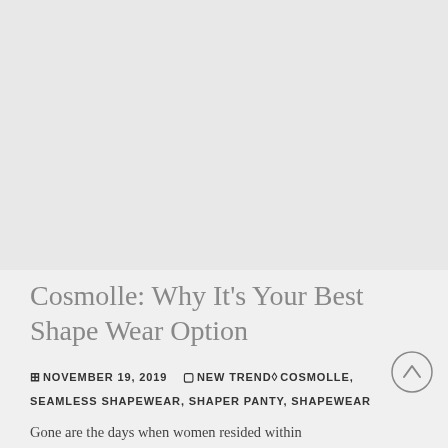[Figure (photo): Light gray placeholder image area at top of page]
Cosmolle: Why It’s Your Best Shape Wear Option
⊞ NOVEMBER 19, 2019  ☐ NEW TREND ◇ COSMOLLE, SEAMLESS SHAPEWEAR, SHAPER PANTY, SHAPEWEAR
Gone are the days when women resided within